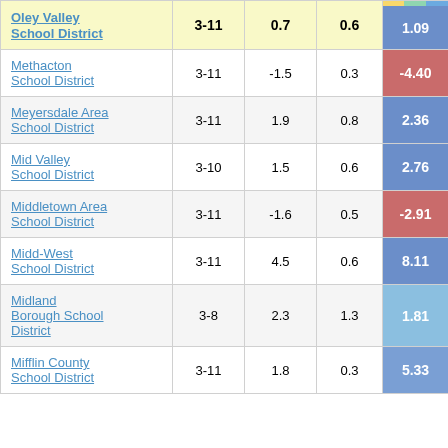| District | Grades | Col3 | Col4 | Score |
| --- | --- | --- | --- | --- |
| Oley Valley School District | 3-11 | 0.7 | 0.6 | 1.09 |
| Methacton School District | 3-11 | -1.5 | 0.3 | -4.40 |
| Meyersdale Area School District | 3-11 | 1.9 | 0.8 | 2.36 |
| Mid Valley School District | 3-10 | 1.5 | 0.6 | 2.76 |
| Middletown Area School District | 3-11 | -1.6 | 0.5 | -2.91 |
| Midd-West School District | 3-11 | 4.5 | 0.6 | 8.11 |
| Midland Borough School District | 3-8 | 2.3 | 1.3 | 1.81 |
| Mifflin County School District | 3-11 | 1.8 | 0.3 | 5.33 |